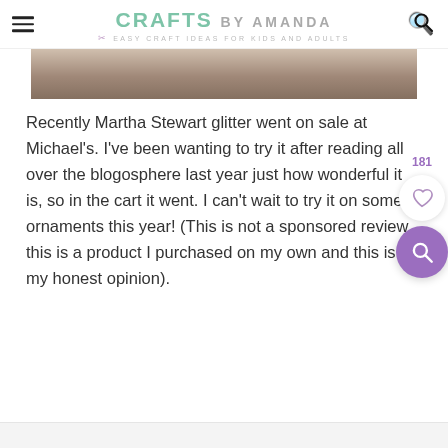CRAFTS BY AMANDA — Easy Craft Ideas for Kids and Adults
[Figure (photo): Partial photo of what appears to be a craft supply or table surface, cropped at top of viewport]
Recently Martha Stewart glitter went on sale at Michael's. I've been wanting to try it after reading all over the blogosphere last year just how wonderful it is, so in the cart it went. I can't wait to try it on some ornaments this year! (This is not a sponsored review, this is a product I purchased on my own and this is my honest opinion).